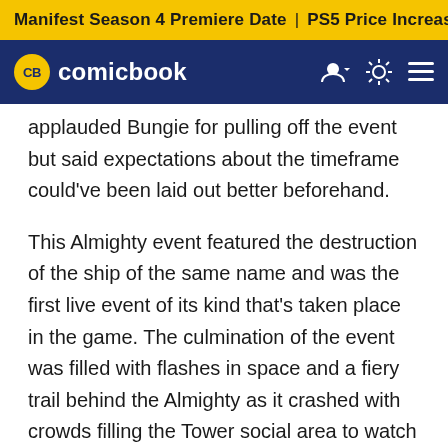Manifest Season 4 Premiere Date | PS5 Price Increase | Jon M
CB comicbook
applauded Bungie for pulling off the event but said expectations about the timeframe could've been laid out better beforehand.
This Almighty event featured the destruction of the ship of the same name and was the first live event of its kind that's taken place in the game. The culmination of the event was filled with flashes in space and a fiery trail behind the Almighty as it crashed with crowds filling the Tower social area to watch everything go down.
All that was preceded by a lot of waiting as missiles were